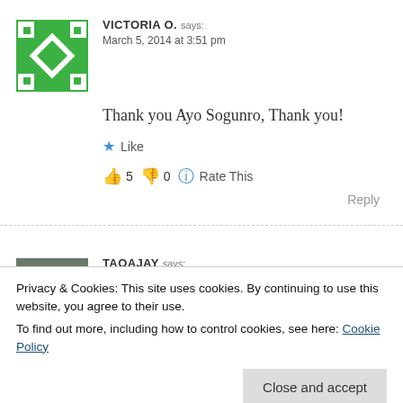VICTORIA O. says: March 5, 2014 at 3:51 pm
Thank you Ayo Sogunro, Thank you!
Like
👍 5 👎 0 🔵 Rate This
Reply
TAOAJAY says: March 5, 2014 at 3:55 pm
Privacy & Cookies: This site uses cookies. By continuing to use this website, you agree to their use. To find out more, including how to control cookies, see here: Cookie Policy
Close and accept
Reply